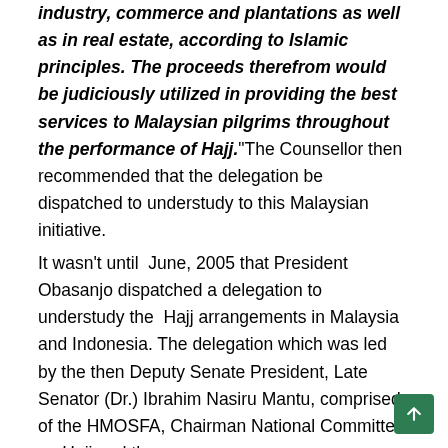industry, commerce and plantations as well as in real estate, according to Islamic principles. The proceeds therefrom would be judiciously utilized in providing the best services to Malaysian pilgrims throughout the performance of Hajj."The Counsellor then recommended that the delegation be dispatched to understudy to this Malaysian initiative.
It wasn't until  June, 2005 that President Obasanjo dispatched a delegation to understudy the  Hajj arrangements in Malaysia and Indonesia. The delegation which was led by the then Deputy Senate President, Late Senator (Dr.) Ibrahim Nasiru Mantu, comprised of the HMOSFA, Chairman National Committee on Hajj and th